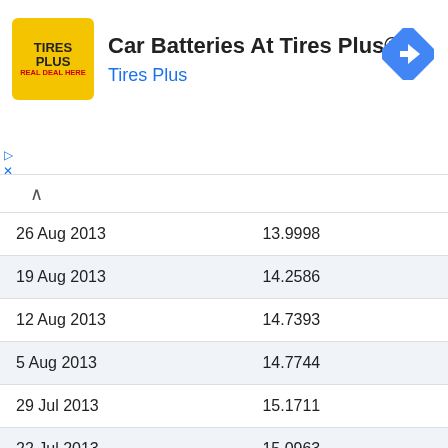[Figure (logo): Tires Plus logo - yellow square with TIRES PLUS text]
Car Batteries At Tires Plus®
Tires Plus
| Date | Value |
| --- | --- |
| 26 Aug 2013 | 13.9998 |
| 19 Aug 2013 | 14.2586 |
| 12 Aug 2013 | 14.7393 |
| 5 Aug 2013 | 14.7744 |
| 29 Jul 2013 | 15.1711 |
| 22 Jul 2013 | 15.0963 |
| 15 Jul 2013 | 15.0282 |
| 8 Jul 2013 | 14.7940 |
| 1 Jul 2013 | 15.1502 |
| 24 Jun 2013 | 15.0565 |